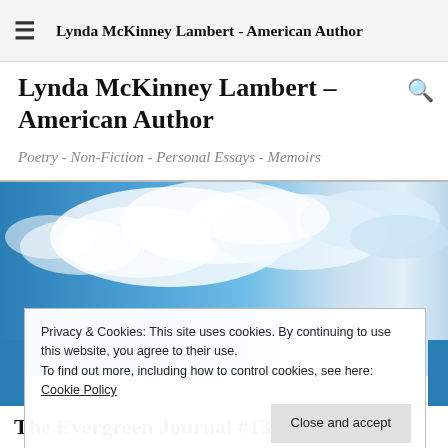≡  Lynda McKinney Lambert - American Author
Lynda McKinney Lambert – American Author
Poetry - Non-Fiction - Personal Essays - Memoirs
[Figure (photo): Sky with white clouds on blue background]
Privacy & Cookies: This site uses cookies. By continuing to use this website, you agree to their use.
To find out more, including how to control cookies, see here: Cookie Policy
Close and accept
The Evergreen Journal #13 Consider the